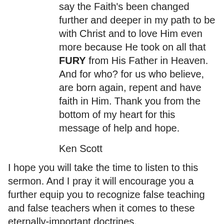say the Faith's been changed further and deeper in my path to be with Christ and to love Him even more because He took on all that FURY from His Father in Heaven. And for who? for us who believe, are born again, repent and have faith in Him. Thank you from the bottom of my heart for this message of help and hope.
Ken Scott
I hope you will take the time to listen to this sermon. And I pray it will encourage you a further equip you to recognize false teaching and false teachers when it comes to these eternally-important doctrines.
Click here to listen.
Unknown at 8:54 AM   No comments:
Share
Monday, April 2, 2012